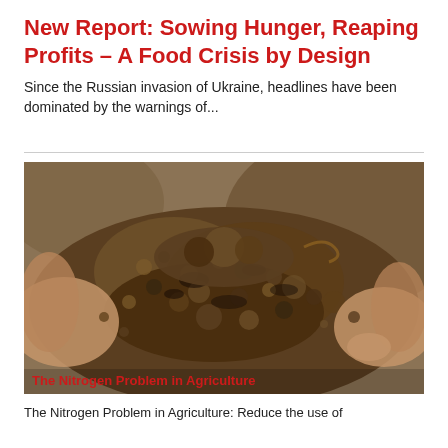New Report: Sowing Hunger, Reaping Profits – A Food Crisis by Design
Since the Russian invasion of Ukraine, headlines have been dominated by the warnings of...
[Figure (photo): Close-up photo of hands holding a clump of dark brown/grey soil or compost, with blurred rocky/earthy background]
The Nitrogen Problem in Agriculture
The Nitrogen Problem in Agriculture: Reduce the use of